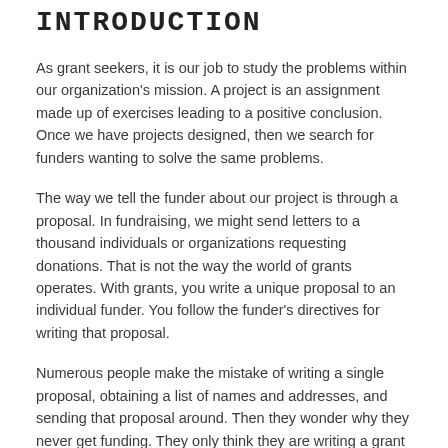INTRODUCTION
As grant seekers, it is our job to study the problems within our organization's mission. A project is an assignment made up of exercises leading to a positive conclusion. Once we have projects designed, then we search for funders wanting to solve the same problems.
The way we tell the funder about our project is through a proposal. In fundraising, we might send letters to a thousand individuals or organizations requesting donations. That is not the way the world of grants operates. With grants, you write a unique proposal to an individual funder. You follow the funder's directives for writing that proposal.
Numerous people make the mistake of writing a single proposal, obtaining a list of names and addresses, and sending that proposal around. Then they wonder why they never get funding. They only think they are writing a grant proposal. Funders disregard such proposals as “non-responsive.” Those people have not understood the investment the funder is attempting to make in a project that will solve the problem in which they are interested.